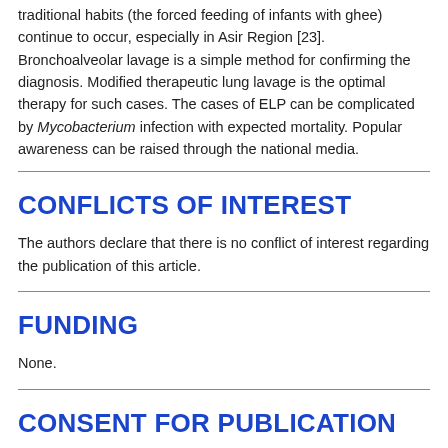traditional habits (the forced feeding of infants with ghee) continue to occur, especially in Asir Region [23]. Bronchoalveolar lavage is a simple method for confirming the diagnosis. Modified therapeutic lung lavage is the optimal therapy for such cases. The cases of ELP can be complicated by Mycobacterium infection with expected mortality. Popular awareness can be raised through the national media.
CONFLICTS OF INTEREST
The authors declare that there is no conflict of interest regarding the publication of this article.
FUNDING
None.
CONSENT FOR PUBLICATION
Written informed consent was obtained from all the participants.